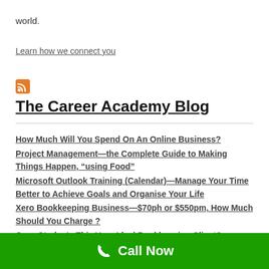world.
Learn how we connect you
The Career Academy Blog
How Much Will You Spend On An Online Business?
Project Management—the Complete Guide to Making Things Happen, “using Food”
Microsoft Outlook Training (Calendar)—Manage Your Time Better to Achieve Goals and Organise Your Life
Xero Bookkeeping Business—$70ph or $550pm, How Much Should You Charge ?
Case Study: Is This Your Ideal Bookkeeping Client?
Call Now